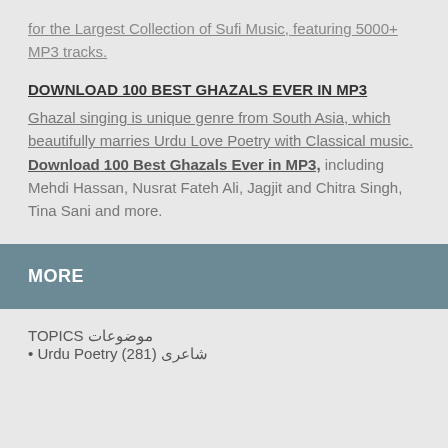for the Largest Collection of Sufi Music, featuring 5000+ MP3 tracks.
DOWNLOAD 100 BEST GHAZALS EVER IN MP3
Ghazal singing is unique genre from South Asia, which beautifully marries Urdu Love Poetry with Classical music. Download 100 Best Ghazals Ever in MP3, including Mehdi Hassan, Nusrat Fateh Ali, Jagjit and Chitra Singh, Tina Sani and more.
MORE
TOPICS موضوعات
Urdu Poetry (281) شاعری